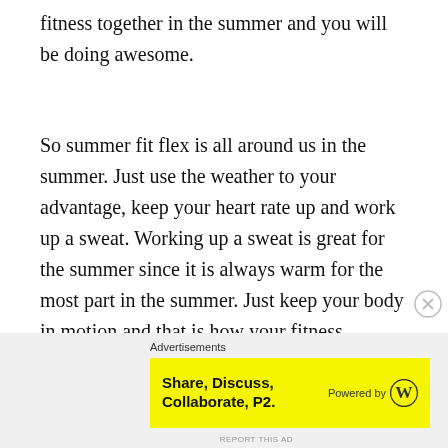fitness together in the summer and you will be doing awesome.
So summer fit flex is all around us in the summer. Just use the weather to your advantage, keep your heart rate up and work up a sweat. Working up a sweat is great for the summer since it is always warm for the most part in the summer. Just keep your body in motion and that is how your fitness becomes something to do in the summer.
Advertisements Share, Discuss, Collaborate, P2. Powered by [WordPress logo]